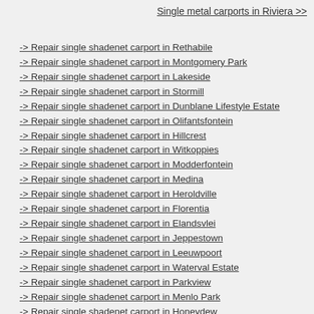Single metal carports in Riviera >>
-> Repair single shadenet carport in Rethabile
-> Repair single shadenet carport in Montgomery Park
-> Repair single shadenet carport in Lakeside
-> Repair single shadenet carport in Stormill
-> Repair single shadenet carport in Dunblane Lifestyle Estate
-> Repair single shadenet carport in Olifantsfontein
-> Repair single shadenet carport in Hillcrest
-> Repair single shadenet carport in Witkoppies
-> Repair single shadenet carport in Modderfontein
-> Repair single shadenet carport in Medina
-> Repair single shadenet carport in Heroldville
-> Repair single shadenet carport in Florentia
-> Repair single shadenet carport in Elandsvlei
-> Repair single shadenet carport in Jeppestown
-> Repair single shadenet carport in Leeuwpoort
-> Repair single shadenet carport in Waterval Estate
-> Repair single shadenet carport in Parkview
-> Repair single shadenet carport in Menlo Park
-> Repair single shadenet carport in Honeydew
-> Repair single shadenet carport in Klippoortje
-> Repair single shadenet carport in Edendale
-> Repair single shadenet carport in Greenland
-> Repair single shadenet carport in Sandspruit
-> Repair single shadenet carport in Grassy